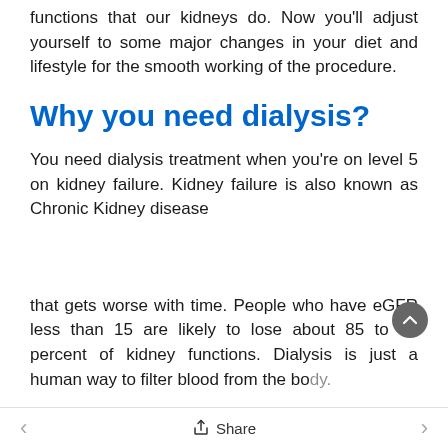functions that our kidneys do. Now you'll adjust yourself to some major changes in your diet and lifestyle for the smooth working of the procedure.
Why you need dialysis?
You need dialysis treatment when you're on level 5 on kidney failure. Kidney failure is also known as Chronic Kidney disease
that gets worse with time. People who have eGFR less than 15 are likely to lose about 85 to 90 percent of kidney functions. Dialysis is just a human way to filter blood from the body.